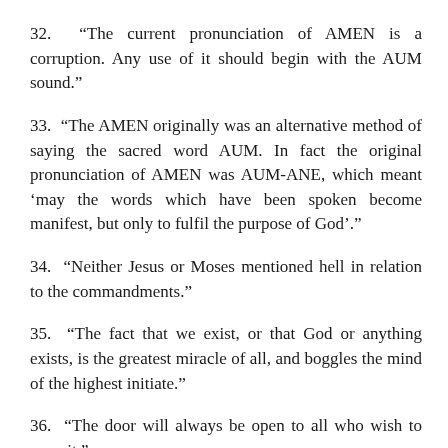32.  “The current pronunciation of AMEN is a corruption. Any use of it should begin with the AUM sound.”
33.  “The AMEN originally was an alternative method of saying the sacred word AUM. In fact the original pronunciation of AMEN was AUM-ANE, which meant ‘may the words which have been spoken become manifest, but only to fulfil the purpose of God’.”
34.  “Neither Jesus or Moses mentioned hell in relation to the commandments.”
35.  “The fact that we exist, or that God or anything exists, is the greatest miracle of all, and boggles the mind of the highest initiate.”
36.  “The door will always be open to all who wish to open it.”